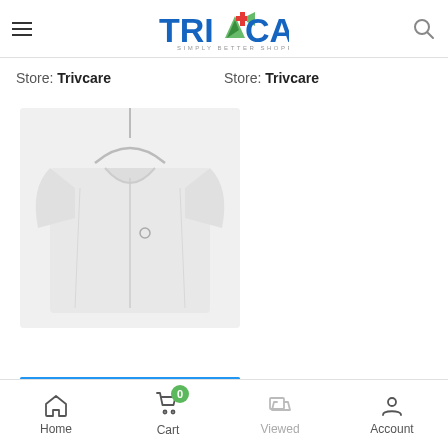Trivcare - Simply Better Shopping
Store: Trivcare
Store: Trivcare
[Figure (photo): White short-sleeve shirt/polo on a hanger, displayed against light background]
Home | Cart (0) | Viewed | Account